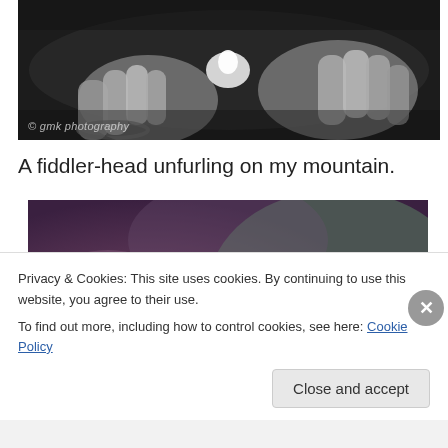[Figure (photo): Black and white photograph of hands holding or handling something small, with a bracelet visible on the left wrist. Watermark reading '© gmk photography' in the lower left.]
A fiddler-head unfurling on my mountain.
[Figure (photo): Close-up color photograph of a fiddler-head fern unfurling, with fuzzy white hairs on the curled green plant head. Background is blurred with purple and green tones.]
Privacy & Cookies: This site uses cookies. By continuing to use this website, you agree to their use.
To find out more, including how to control cookies, see here: Cookie Policy
Close and accept